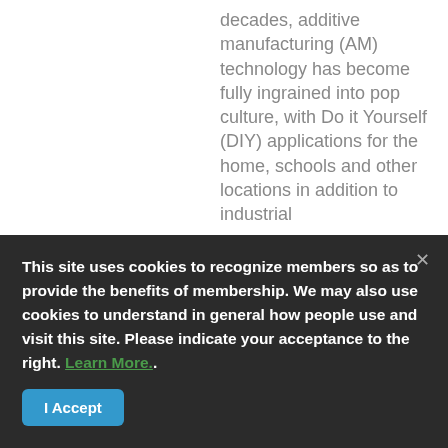decades, additive manufacturing (AM) technology has become fully ingrained into pop culture, with Do it Yourself (DIY) applications for the home, schools and other locations in addition to industrial applications for the
This site uses cookies to recognize members so as to provide the benefits of membership. We may also use cookies to understand in general how people use and visit this site. Please indicate your acceptance to the right. Learn More..